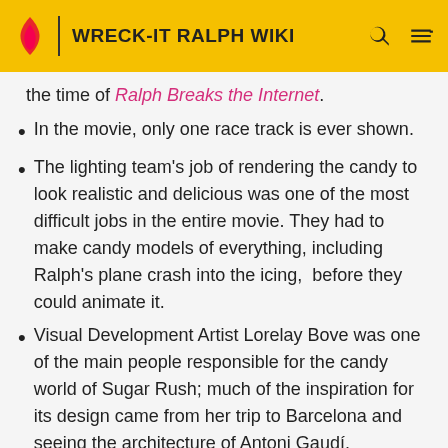WRECK-IT RALPH WIKI
the time of Ralph Breaks the Internet.
In the movie, only one race track is ever shown.
The lighting team's job of rendering the candy to look realistic and delicious was one of the most difficult jobs in the entire movie. They had to make candy models of everything, including Ralph's plane crash into the icing,  before they could animate it.
Visual Development Artist Lorelay Bove was one of the main people responsible for the candy world of Sugar Rush; much of the inspiration for its design came from her trip to Barcelona and seeing the architecture of Antoni Gaudí.
The world of Sugar Rush is based on Japanese candy because animators wanted to create a